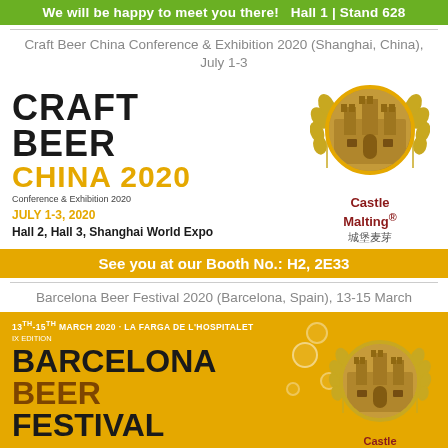We will be happy to meet you there!   Hall 1 | Stand 628
Craft Beer China Conference & Exhibition 2020 (Shanghai, China), July 1-3
[Figure (infographic): Craft Beer China 2020 Conference & Exhibition promotional block with Castle Malting logo circle, showing event at Hall 2, Hall 3, Shanghai World Expo, July 1-3 2020, with booth H2, 2E33]
Barcelona Beer Festival 2020 (Barcelona, Spain), 13-15 March
[Figure (infographic): Barcelona Beer Festival 2020 promotional block, 13th-15th March 2020, La Farga de L'Hospitalet, IX Edition, with Castle Malting logo circle]